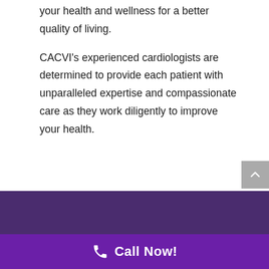your health and wellness for a better quality of living.
CACVI's experienced cardiologists are determined to provide each patient with unparalleled expertise and compassionate care as they work diligently to improve your health.
[Figure (other): Purple/violet banner section at bottom of page]
Call Now!